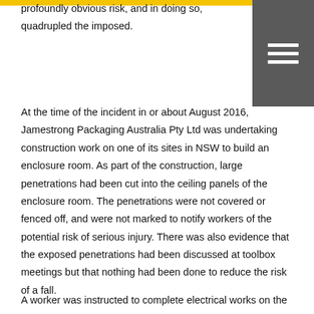profoundly obvious risk, and in doing so, quadrupled the imposed.
At the time of the incident in or about August 2016, Jamestrong Packaging Australia Pty Ltd was undertaking construction work on one of its sites in NSW to build an enclosure room. As part of the construction, large penetrations had been cut into the ceiling panels of the enclosure room. The penetrations were not covered or fenced off, and were not marked to notify workers of the potential risk of serious injury. There was also evidence that the exposed penetrations had been discussed at toolbox meetings but that nothing had been done to reduce the risk of a fall.
A worker was instructed to complete electrical works on the